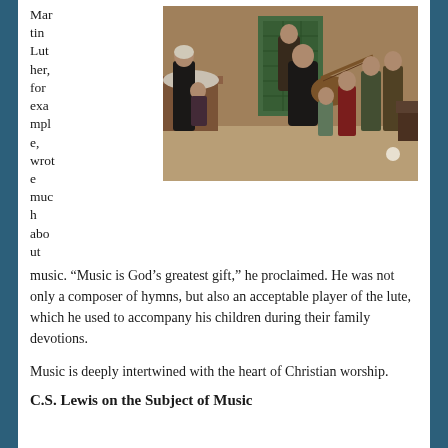[Figure (illustration): A historical painting depicting Martin Luther playing the lute surrounded by his family including women and children in a domestic interior setting with a green tiled stove in the background.]
Martin Luther, for example, wrote much about music. “Music is God’s greatest gift,” he proclaimed. He was not only a composer of hymns, but also an acceptable player of the lute, which he used to accompany his children during their family devotions.
Music is deeply intertwined with the heart of Christian worship.
C.S. Lewis on the Subject of Music